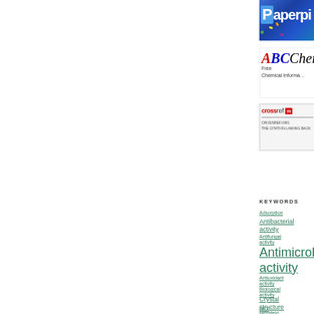[Figure (screenshot): Paperpile banner advertisement with blue background and colorful confetti dots]
[Figure (logo): ABChemistry free chemical information logo with red and blue italic letters]
[Figure (logo): Crossref logo banner with red crossref branding and citation linking tagline]
KEYWORDS
Adsorption
Antibacterial activity
Antifungal activity
Antimicrobial activity
Antioxidant activity
Biological activity
Crystal structure
DFT
Hirshfeld